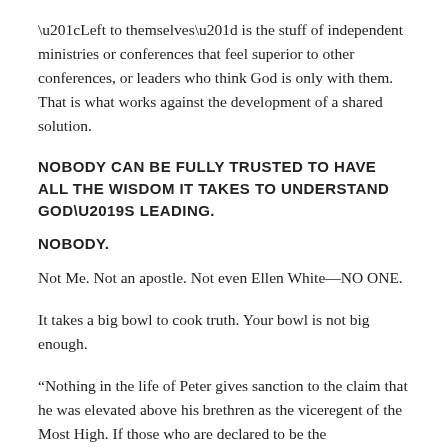“Left to themselves” is the stuff of independent ministries or conferences that feel superior to other conferences, or leaders who think God is only with them. That is what works against the development of a shared solution.
NOBODY CAN BE FULLY TRUSTED TO HAVE ALL THE WISDOM IT TAKES TO UNDERSTAND GOD’S LEADING.
NOBODY.
Not Me. Not an apostle. Not even Ellen White—NO ONE.
It takes a big bowl to cook truth. Your bowl is not big enough.
“Nothing in the life of Peter gives sanction to the claim that he was elevated above his brethren as the viceregent of the Most High. If those who are declared to be the